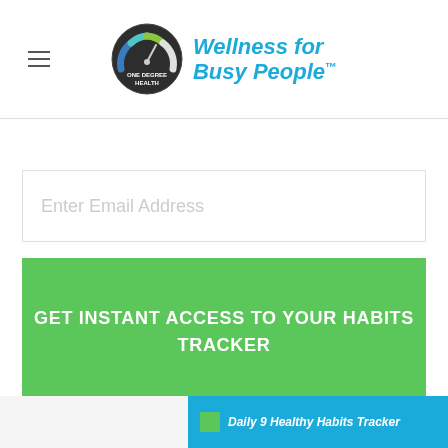[Figure (logo): One Degree Health logo with gauge/speedometer icon and 'Wellness for Busy People™' text in blue italic]
Enter Email Address
GET INSTANT ACCESS TO YOUR HABITS TRACKER
We won't spam or sell your info. Unsubscribe any time.
[Figure (screenshot): Partial view of Daily 9 Healthy Habits Tracker document at bottom of page]